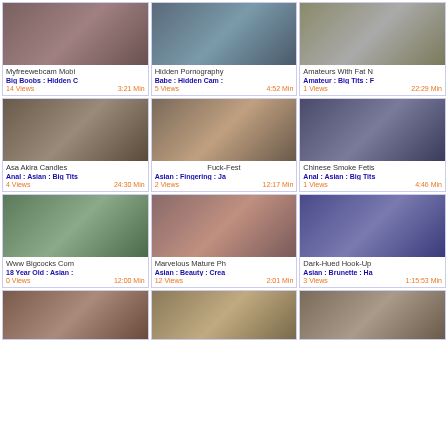[Figure (other): Video thumbnail grid showing adult video listings with titles, tags, view counts, and durations]
Myfreewebcam Mobi | Big Boobs : Hidden C | 14 Views | 3:21 Min
Hidden Pornography | Babe : Hidden Cam : | 5 Views | 4:52 Min
Amateurs With Fat N | Amateur : Big Tits : F | 1 Views | 22:29 Min
Asa Akira Candles | Anal : Asian : Big Tits | 4 Views | 24:30 Min
Fuck-Fest | Asian : Fingering : Ja | 2 Views | 12:17 Min
Chinese Smoke Fetis | Anal : Asian : Big Tits | 1 Views | 4:46 Min
Www Bigcocks Com | 18 Year Old : Asian : | 0 Views | 12:00 Min
Marvelous Mature Ph | Asian : Beauty : Crea | 12 Views | 2:01 Min
Dark-Hued Hook-Up | Asian : Brunette : Ha | 3 Views | 1:15:53 Min